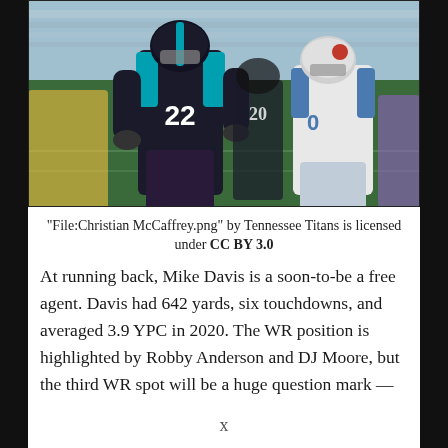[Figure (photo): Two NFL players on a football field. Player wearing #22 Carolina Panthers dark jersey (Christian McCaffrey) on the left, and a player in a white Tennessee Titans jersey on the right. Stadium crowd visible in background.]
“File:Christian McCaffrey.png” by Tennessee Titans is licensed under CC BY 3.0
At running back, Mike Davis is a soon-to-be a free agent. Davis had 642 yards, six touchdowns, and averaged 3.9 YPC in 2020. The WR position is highlighted by Robby Anderson and DJ Moore, but the third WR spot will be a huge question mark —
x